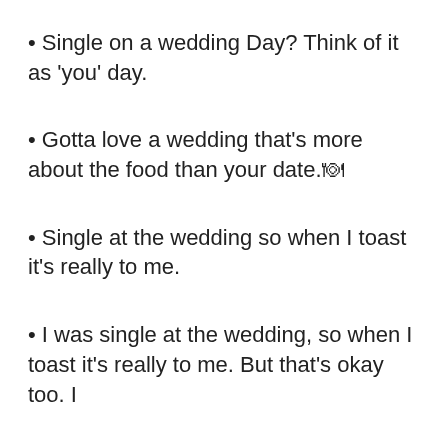Single on a wedding Day? Think of it as 'you' day.
Gotta love a wedding that's more about the food than your date.🍽
Single at the wedding so when I toast it's really to me.
I was single at the wedding, so when I toast it's really to me. But that's okay too. I